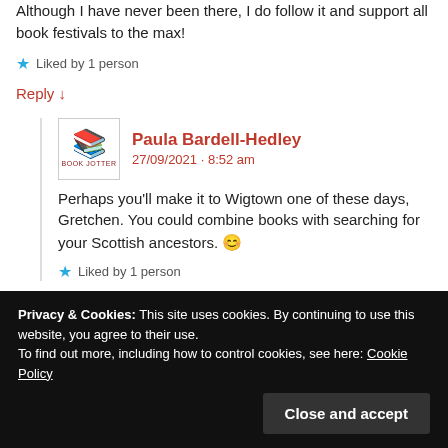Although I have never been there, I do follow it and support all book festivals to the max!
Liked by 1 person
Reply ↓
Paula Bardell-Hedley
27/09/2021 · 8:52 am
Perhaps you'll make it to Wigtown one of these days, Gretchen. You could combine books with searching for your Scottish ancestors. 😊
Liked by 1 person
Privacy & Cookies: This site uses cookies. By continuing to use this website, you agree to their use. To find out more, including how to control cookies, see here: Cookie Policy
Close and accept